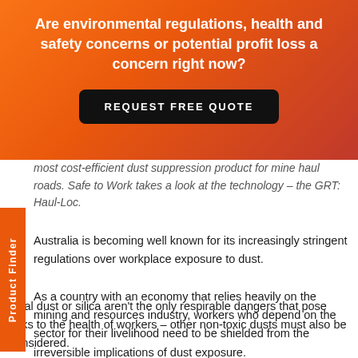Are environmental regulations, health and safety concerns or potential profit loss a concern right now?
REQUEST FREE QUOTE
most cost-efficient dust suppression product for mine haul roads. Safe to Work takes a look at the technology – the GRT: Haul-Loc.
Australia is becoming well known for its increasingly stringent regulations over workplace exposure to dust.
As a country with an economy that relies heavily on the mining and resources industry, workers who depend on the sector for their livelihood need to be shielded from the irreversible implications of dust exposure.
Coal dust or silica aren't the only respirable dangers that pose risks to the health of workers – other non-toxic dusts must also be considered.